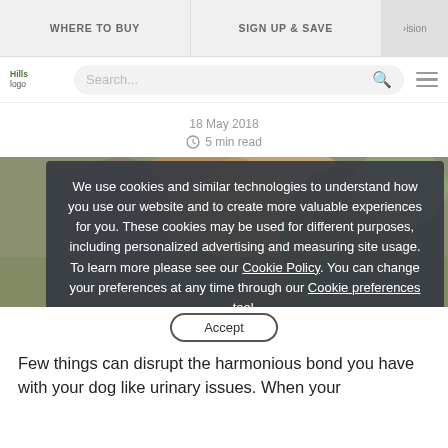WHERE TO BUY | SIGN UP & SAVE
[Figure (logo): Hills Pet logo in top-left header area with search bar and hamburger menu]
18 May 2018
5 min read
[Figure (photo): Dog being examined or held by person, outdoor/casual setting]
We use cookies and similar technologies to understand how you use our website and to create more valuable experiences for you. These cookies may be used for different purposes, including personalized advertising and measuring site usage. To learn more please see our Cookie Policy. You can change your preferences at any time through our Cookie preferences tool.
Accept
Few things can disrupt the harmonious bond you have with your dog like urinary issues. When your